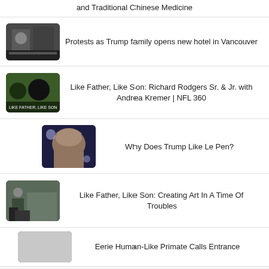and Traditional Chinese Medicine
Protests as Trump family opens new hotel in Vancouver
Like Father, Like Son: Richard Rodgers Sr. & Jr. with Andrea Kremer | NFL 360
Why Does Trump Like Le Pen?
Like Father, Like Son: Creating Art In A Time Of Troubles
Eerie Human-Like Primate Calls Entrance